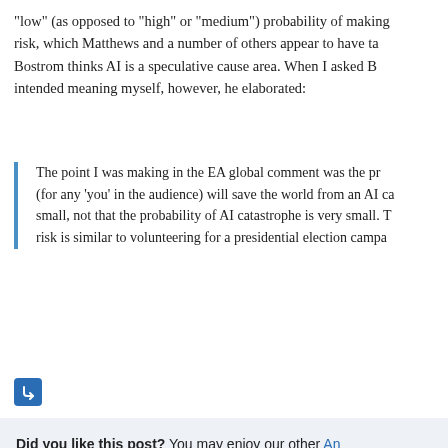“low” (as opposed to “high” or “medium”) probability of making risk, which Matthews and a number of others appear to have ta Bostrom thinks AI is a speculative cause area. When I asked B intended meaning myself, however, he elaborated:
The point I was making in the EA global comment was the pr (for any ‘you’ in the audience) will save the world from an AI ca small, not that the probability of AI catastrophe is very small. T risk is similar to volunteering for a presidential election campa
[Figure (other): Blue square icon with a return/undo arrow symbol inside]
Did you like this post? You may enjoy our other An including:
When AI Accelerates AI
Ngo and Yudkowsky on alignment difficulty
Yudkowsky and Christiano discuss “Takeoff Speeds”
Exponential and non-exponential trends in